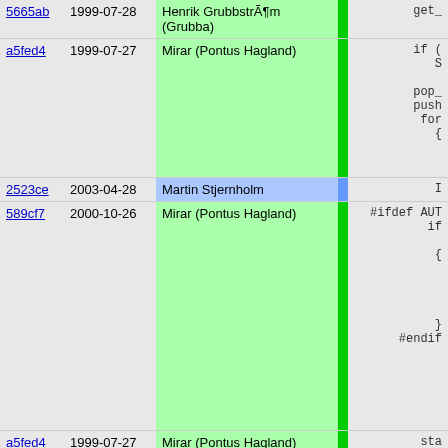| hash | date | author | bar | code |
| --- | --- | --- | --- | --- |
| 5665ab | 1999-07-28 | Henrik GrubbstrÃ¶m (Grubba) |  | get_ |
| a5fed4 | 1999-07-27 | Mirar (Pontus Hagland) |  | if (
  S

pop_
push
for
{ |
| 2523ce | 2003-04-28 | Martin Stjernholm |  | I |
| 589cf7 | 2000-10-26 | Mirar (Pontus Hagland) |  | #ifdef AUT
  if

{




}
#endif |
| a5fed4 | 1999-07-27 | Mirar (Pontus Hagland) |  | sta
} |
| 2523ce | 2003-04-28 | Martin Stjernholm |  | d->t |